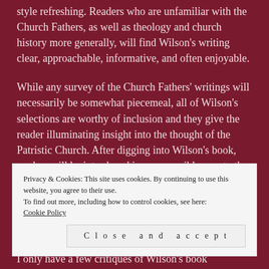style refreshing. Readers who are unfamiliar with the Church Fathers, as well as theology and church history more generally, will find Wilson's writing clear, approachable, informative, and often enjoyable.
While any survey of the Church Fathers' writings will necessarily be somewhat piecemeal, all of Wilson's selections are worthy of inclusion and they give the reader illuminating insight into the thought of the Patristic Church. After digging into Wilson's book, readers will be introduced in an accessible way to the writings of Ignatius of Antioch, Athanasius of Alexandria, Ambrose of Milan and many more
Privacy & Cookies: This site uses cookies. By continuing to use this website, you agree to their use.
To find out more, including how to control cookies, see here: Cookie Policy
Close and accept
I only have a few critiques of Wilson's book